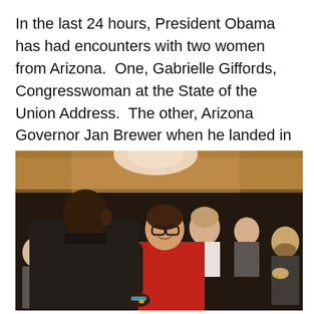In the last 24 hours, President Obama has had encounters with two women from Arizona.  One, Gabrielle Giffords, Congresswoman at the State of the Union Address.  The other, Arizona Governor Jan Brewer when he landed in Phoenix this afternoon.
[Figure (photo): Black and white / color photo of President Obama hugging Congresswoman Gabrielle Giffords in a large hall filled with people applauding. A woman in a red jacket is in the center embracing a man in a dark suit. Several other people are visible in the background, including a man praying with hands clasped on the right side, and a smiling woman in white in the center background.]